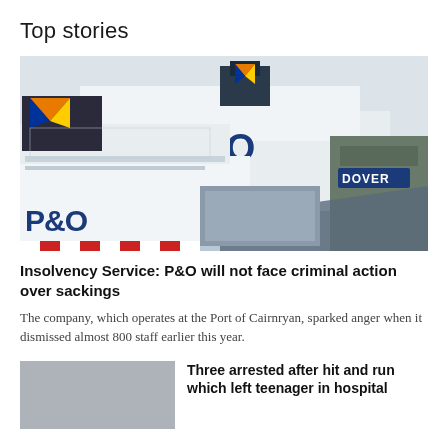Top stories
[Figure (photo): P&O ferry ships docked at Dover port, showing two large white P&O branded ferries with colourful logos, alongside port infrastructure and a Dover sign]
Insolvency Service: P&O will not face criminal action over sackings
The company, which operates at the Port of Cairnryan, sparked anger when it dismissed almost 800 staff earlier this year.
[Figure (photo): Thumbnail image placeholder (grey) for the secondary story about a hit and run]
Three arrested after hit and run which left teenager in hospital